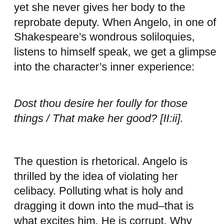yet she never gives her body to the reprobate deputy.  When Angelo, in one of Shakespeare's wondrous soliloquies, listens to himself speak, we get a glimpse into the character's inner experience:
Dost thou desire her foully for those things / That make her good? [II:ii].
The question is rhetorical.  Angelo is thrilled by the idea of violating her celibacy.  Polluting what is holy and dragging it down into the mud–that is what excites him.  He is corrupt.  Why shouldn't everyone else in the world be?  I hear in Angelo's "We are all frail" [II:iv] a failed attempt at identification with Isabella–